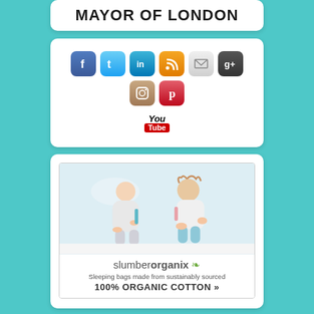MAYOR OF LONDON
[Figure (infographic): Social media icons: Facebook, Twitter, LinkedIn, RSS, Email, Google+, Instagram, Pinterest, YouTube]
[Figure (photo): Advertisement for slumberorganix - two babies/toddlers sitting on white fabric wearing sleeping bags. Text: slumberorganix, Sleeping bags made from sustainably sourced 100% ORGANIC COTTON »]